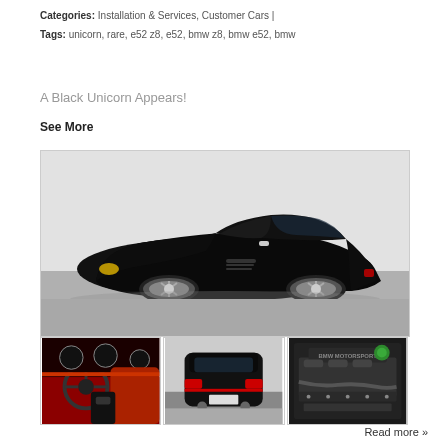Categories: Installation & Services, Customer Cars |
Tags: unicorn, rare, e52 z8, e52, bmw z8, bmw e52, bmw
A Black Unicorn Appears!
See More
[Figure (photo): Side profile of a black BMW Z8 (E52) sports car on a grey background]
[Figure (photo): Red interior of the BMW Z8 showing steering wheel, dashboard and seats]
[Figure (photo): Rear view of the black BMW Z8]
[Figure (photo): BMW engine bay close-up showing engine components]
Read more »